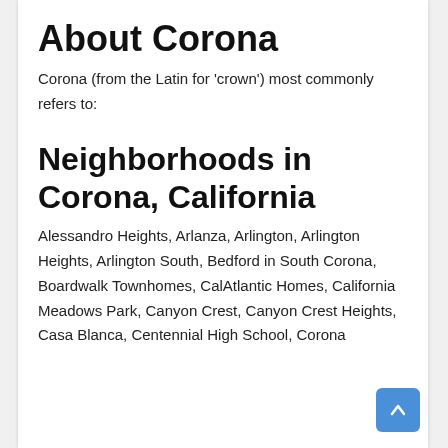About Corona
Corona (from the Latin for 'crown') most commonly refers to:
Neighborhoods in Corona, California
Alessandro Heights, Arlanza, Arlington, Arlington Heights, Arlington South, Bedford in South Corona, Boardwalk Townhomes, CalAtlantic Homes, California Meadows Park, Canyon Crest, Canyon Crest Heights, Casa Blanca, Centennial High School, Corona